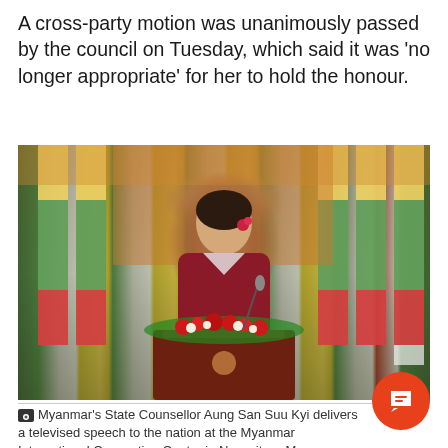A cross-party motion was unanimously passed by the council on Tuesday, which said it was 'no longer appropriate' for her to hold the honour.
[Figure (photo): Myanmar's State Counsellor Aung San Suu Kyi delivering a televised speech at a podium decorated with flowers, with Myanmar national flags in the background at the Myanmar International Convention Center in Naypyitaw.]
Myanmar's State Counsellor Aung San Suu Kyi delivers a televised speech to the nation at the Myanmar International Convention Center in Naypyitaw, My... (Photo: AP)